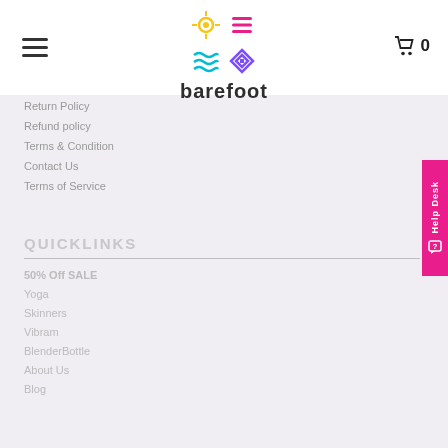[Figure (logo): Barefoot brand logo with colorful 2x2 grid icons and brand name 'barefoot' below]
Return Policy
Refund policy
Terms & Condition
Contact Us
Terms of Service
QUICKLINKS
50% Off SALE
Yoga
Skinners
Vibram
BlenderBottle
About Us
Blog